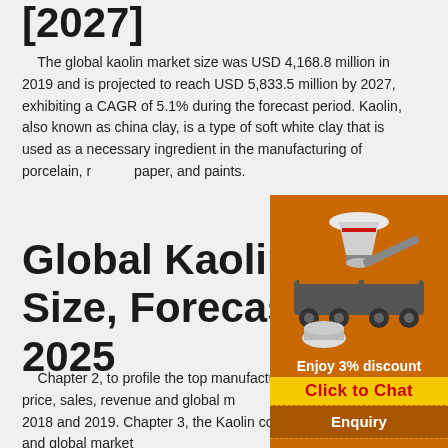[2027]
The global kaolin market size was USD 4,168.8 million in 2019 and is projected to reach USD 5,833.5 million by 2027, exhibiting a CAGR of 5.1% during the forecast period. Kaolin, also known as china clay, is a type of soft white clay that is used as a necessary ingredient in the manufacturing of porcelain, rubber, paper, and paints.
Global Kaolin Market Size, Forecast Report 2025
[Figure (photo): Industrial crushing/grinding machinery equipment on orange background with discount offer: Enjoy 3% discount, Click to Chat, Enquiry, limingjlmofen@sina.com]
Chapter 2, to profile the top manufacturers of Kaolin, with price, sales, revenue and global market share of Kaolin in 2018 and 2019. Chapter 3, the Kaolin competitive situation, sales, revenue and global market